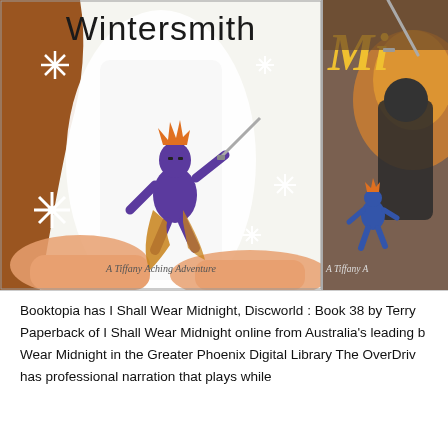[Figure (photo): Two book covers side by side. Left: 'Wintersmith' — a Tiffany Aching Adventure, showing a purple muscular figure with orange hair wielding a sword, standing on a girl's outstretched hands, with snowflakes in background. Right: partial cover of another Tiffany Aching book (likely 'I Shall Wear Midnight') showing a small blue figure and gold lettering 'Mi...' partially cropped.]
Booktopia has I Shall Wear Midnight, Discworld : Book 38 by Terry Paperback of I Shall Wear Midnight online from Australia's leading b Wear Midnight in the Greater Phoenix Digital Library The OverDriv has professional narration that plays while